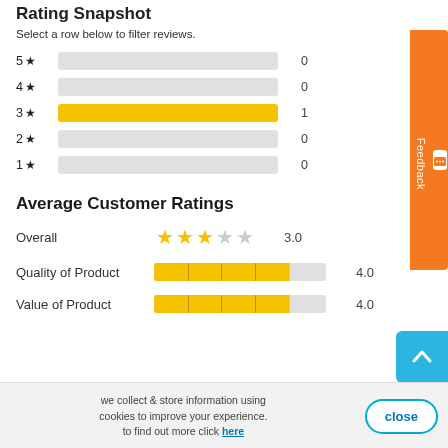Rating Snapshot
Select a row below to filter reviews.
[Figure (bar-chart): Rating Snapshot]
Average Customer Ratings
|  | Stars | Value |
| --- | --- | --- |
| Overall | 3 stars | 3.0 |
| Quality of Product | 4 segments bar | 4.0 |
| Value of Product | 4 segments bar | 4.0 |
we collect & store information using cookies to improve your experience. to find out more click here